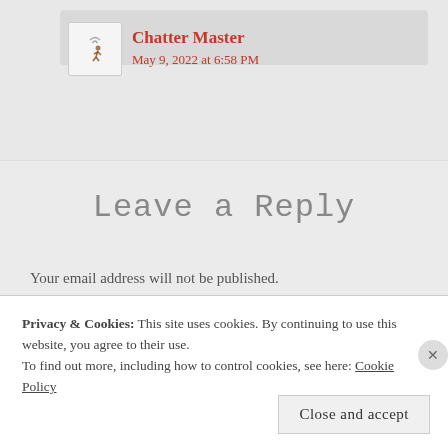Chatter Master
May 9, 2022 at 6:58 PM
Leave a Reply
Your email address will not be published. Required fields are marked *
Privacy & Cookies: This site uses cookies. By continuing to use this website, you agree to their use.
To find out more, including how to control cookies, see here: Cookie Policy
Close and accept